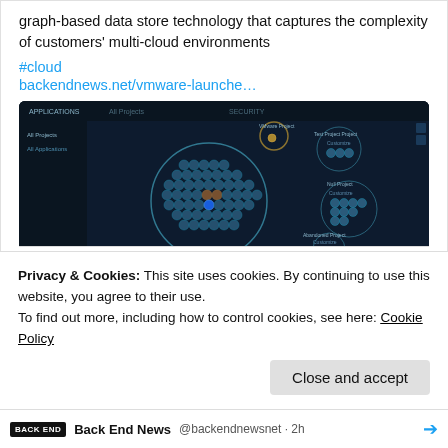graph-based data store technology that captures the complexity of customers' multi-cloud environments
#cloud
backendnews.net/vmware-launche…
[Figure (screenshot): Screenshot of a dark-themed network/graph visualization dashboard showing hexagonal node clusters arranged in a circle, with smaller satellite clusters around the main cluster. The UI shows 'APPLICATIONS' and 'All Applications' labels.]
backendnews.net
Privacy & Cookies: This site uses cookies. By continuing to use this website, you agree to their use.
To find out more, including how to control cookies, see here: Cookie Policy
Close and accept
BACK END  Back End News @backendnewsnet · 2h